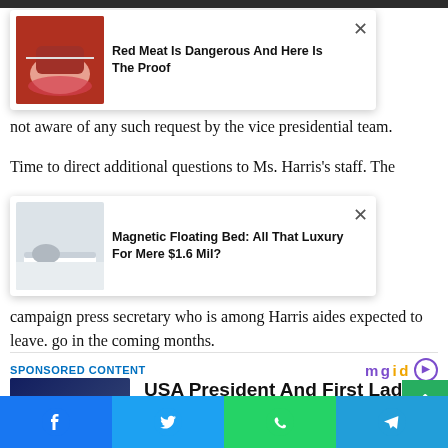[Figure (photo): Advertisement card: photo of person eating red meat with red lips, headline 'Red Meat Is Dangerous And Here Is The Proof', close button X]
not aware of any such request by the vice presidential team.
Time to direct additional questions to Ms. Harris's staff. The
[Figure (photo): Advertisement card: photo of person lying on a white floating magnetic bed, headline 'Magnetic Floating Bed: All That Luxury For Mere $1.6 Mil?', close button X]
campaign press secretary who is among Harris aides expected to leave. go in the coming months.
SPONSORED CONTENT
[Figure (logo): mgid logo with play button icon]
[Figure (photo): Photo of Donald Trump gesturing at a debate, dark background]
USA President And First Lady Test Positive For Covid-19
Brainberries
[Figure (infographic): Social share bar with Facebook, Twitter, WhatsApp, and Telegram buttons]